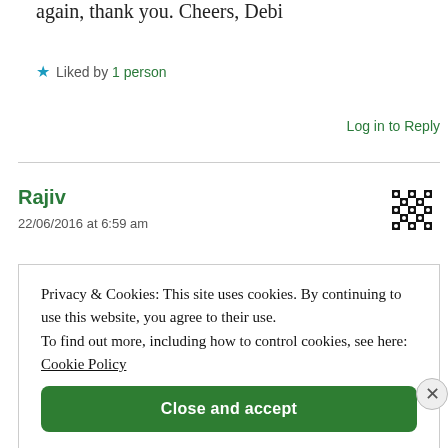again, thank you. Cheers, Debi
★ Liked by 1 person
Log in to Reply
Rajiv
22/06/2016 at 6:59 am
[Figure (other): User avatar: black and white checkered pattern icon]
Privacy & Cookies: This site uses cookies. By continuing to use this website, you agree to their use. To find out more, including how to control cookies, see here: Cookie Policy
Close and accept